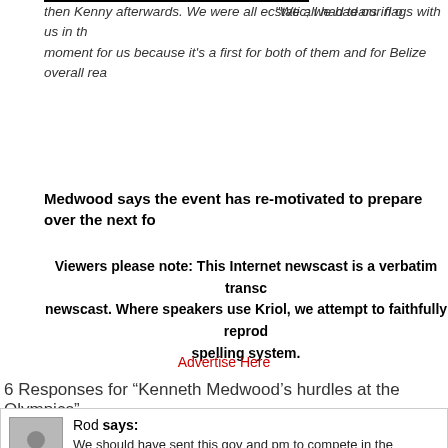"We all had tears in our eyes; then Kenny afterwards. We were all ecstatic; we had our flags with us in the moment for us because it's a first for both of them and for Belize overall rea
Medwood says the event has re-motivated to prepare over the next fo
Viewers please note: This Internet newscast is a verbatim transcr newscast. Where speakers use Kriol, we attempt to faithfully reprod spelling system.
Advertise Here
6 Responses for “Kenneth Medwood’s hurdles at the Olympics”
Rod says: We should have sent this gov and pm to compete in the incompetence brought home the gold.
Belizean says: ROD stop ranting and raving mulling in your mud of negativity. I wonde have a very happy life compared to yours if I would judge by the way yo
Louisville Ky says: